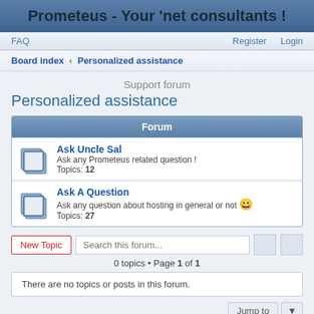Prometeus - Your 'net consultants !
FAQ  Register  Login
Board index ‹ Personalized assistance
Support forum
Personalized assistance
| Forum |
| --- |
| Ask Uncle Sal
Ask any Prometeus related question !
Topics: 12 |
| Ask A Question
Ask any question about hosting in general or not 😀
Topics: 27 |
New Topic  Search this forum...
0 topics • Page 1 of 1
There are no topics or posts in this forum.
Jump to